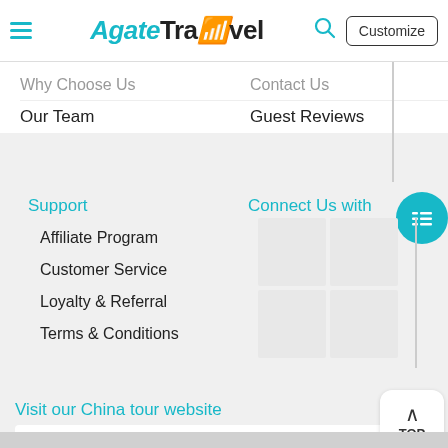Agate Travel — Customize
Why Choose Us
Contact Us
Our Team
Guest Reviews
Support
Connect Us with
Affiliate Program
Customer Service
Loyalty & Referral
Terms & Conditions
Visit our China tour website